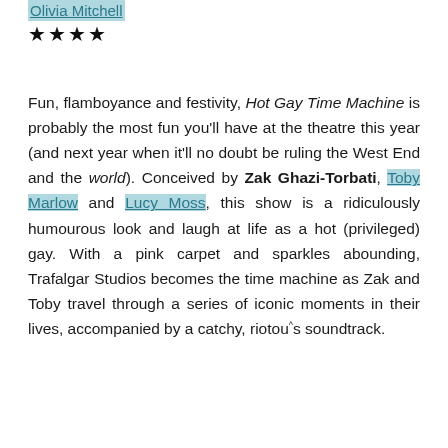Olivia Mitchell
★★★★
Fun, flamboyance and festivity, Hot Gay Time Machine is probably the most fun you'll have at the theatre this year (and next year when it'll no doubt be ruling the West End and the world). Conceived by Zak Ghazi-Torbati, Toby Marlow and Lucy Moss, this show is a ridiculously humourous look and laugh at life as a hot (privileged) gay. With a pink carpet and sparkles abounding, Trafalgar Studios becomes the time machine as Zak and Toby travel through a series of iconic moments in their lives, accompanied by a catchy, riotous soundtrack.